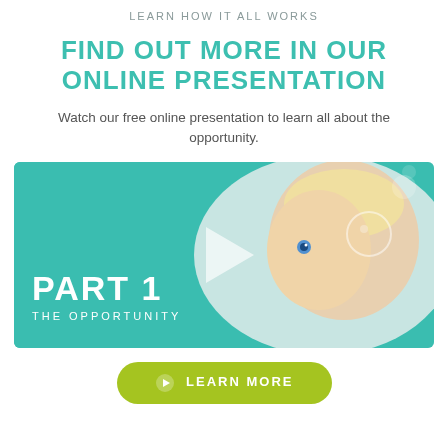LEARN HOW IT ALL WORKS
FIND OUT MORE IN OUR ONLINE PRESENTATION
Watch our free online presentation to learn all about the opportunity.
[Figure (photo): Video thumbnail showing a baby with text 'PART 1 THE OPPORTUNITY' and a play button overlay on a teal background]
LEARN MORE